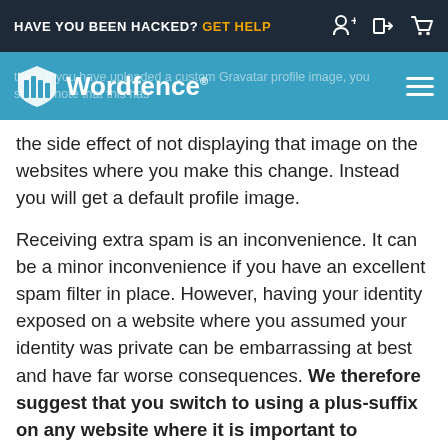HAVE YOU BEEN HACKED? GET HELP
[Figure (logo): Wordfence logo with shield/columns icon on teal background, with hamburger menu icon on right. Background text partially visible: 'than. If you have uploaded a custom Gravatar profile image, you should note that this has']
the side effect of not displaying that image on the websites where you make this change. Instead you will get a default profile image.
Receiving extra spam is an inconvenience. It can be a minor inconvenience if you have an excellent spam filter in place. However, having your identity exposed on a website where you assumed your identity was private can be embarrassing at best and have far worse consequences. We therefore suggest that you switch to using a plus-suffix on any website where it is important to maintain your personal privacy.